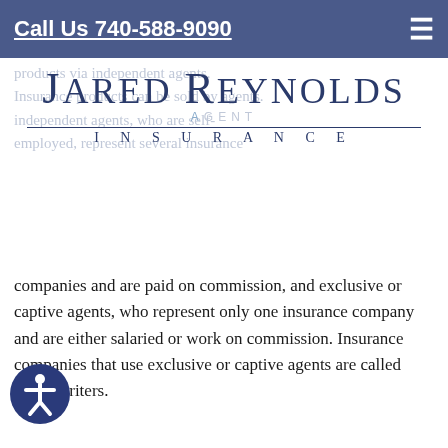Call Us 740-588-9090
[Figure (logo): Jared Reynolds Insurance agent logo with stylized text and horizontal rule]
products via independent agents. Insurance products can be sold by agents. independent agents, who are self-employed, represent several insurance companies and are paid on commission, and exclusive or captive agents, who represent only one insurance company and are either salaried or work on commission. Insurance companies that use exclusive or captive agents are called direct writers.
ALIEN INSURANCE COMPANY
An insurance company incorporated under the laws of a foreign country, as opposed to a foreign insurance company that does business in states